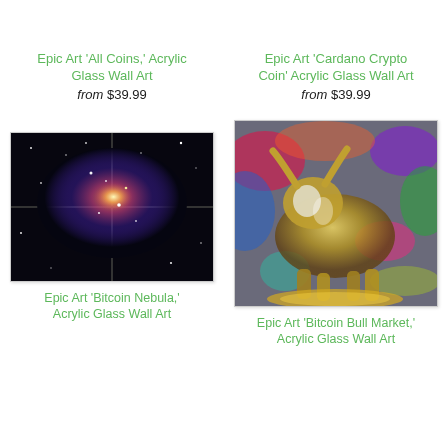Epic Art 'All Coins,' Acrylic Glass Wall Art
from $39.99
Epic Art 'Cardano Crypto Coin' Acrylic Glass Wall Art
from $39.99
[Figure (photo): Nebula space image on acrylic glass panels — colorful stellar cloud with blue and orange hues against dark background]
[Figure (photo): Colorful graffiti-style bull (Charging Bull / Wall Street Bull) with vivid paint splatter background on acrylic glass]
Epic Art 'Bitcoin Nebula,' Acrylic Glass Wall Art
Epic Art 'Bitcoin Bull Market,' Acrylic Glass Wall Art